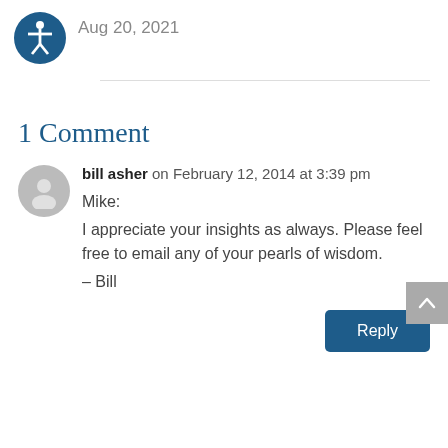[Figure (logo): Accessibility icon — dark blue circle with white person figure and arms extended]
Aug 20, 2021
1 Comment
bill asher on February 12, 2014 at 3:39 pm
Mike:
I appreciate your insights as always. Please feel free to email any of your pearls of wisdom.
– Bill